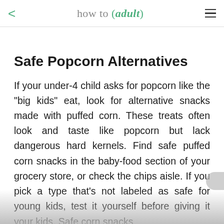how to (adult)
Safe Popcorn Alternatives
If your under-4 child asks for popcorn like the "big kids" eat, look for alternative snacks made with puffed corn. These treats often look and taste like popcorn but lack dangerous hard kernels. Find safe puffed corn snacks in the baby-food section of your grocery store, or check the chips aisle. If you pick a type that's not labeled as safe for young kids, test it yourself before giving it your kids. Safe corn snacks